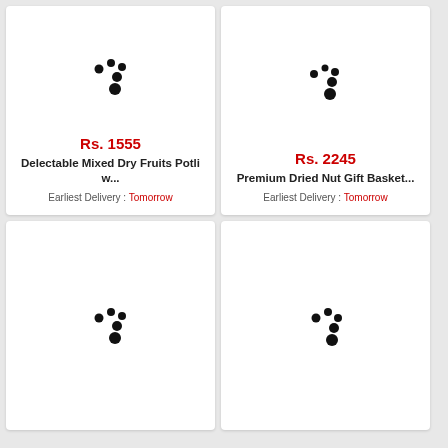[Figure (screenshot): Product card with loading spinner for Delectable Mixed Dry Fruits Potli, price Rs. 1555, Earliest Delivery: Tomorrow]
[Figure (screenshot): Product card with loading spinner for Premium Dried Nut Gift Basket, price Rs. 2245, Earliest Delivery: Tomorrow]
[Figure (screenshot): Product card with loading spinner (partially visible, bottom-left)]
[Figure (screenshot): Product card with loading spinner (partially visible, bottom-right)]